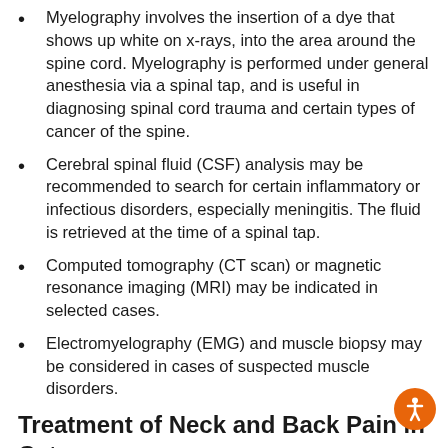Myelography involves the insertion of a dye that shows up white on x-rays, into the area around the spine cord. Myelography is performed under general anesthesia via a spinal tap, and is useful in diagnosing spinal cord trauma and certain types of cancer of the spine.
Cerebral spinal fluid (CSF) analysis may be recommended to search for certain inflammatory or infectious disorders, especially meningitis. The fluid is retrieved at the time of a spinal tap.
Computed tomography (CT scan) or magnetic resonance imaging (MRI) may be indicated in selected cases.
Electromyelography (EMG) and muscle biopsy may be considered in cases of suspected muscle disorders.
Treatment of Neck and Back Pain in Cats
Treatment varies widely for patients with back or neck pain, depending upon the nature of the disease and the extent of the injury involved. This is why a